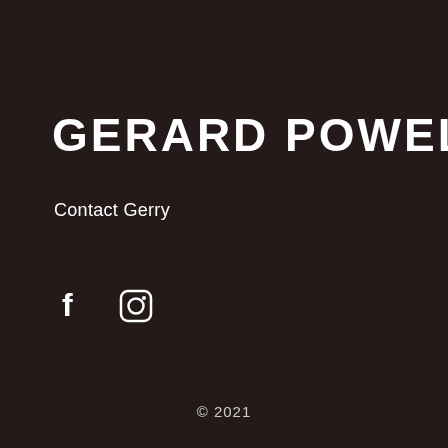GERARD POWELL
Contact Gerry
[Figure (other): Social media icons: Facebook (f) and Instagram (camera icon)]
© 2021